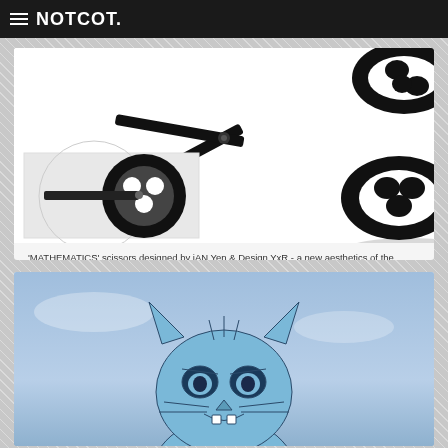NOTCOT.
[Figure (photo): Black mathematics scissors designed by iAN Yen & Design YxR showing golden ratio proportions, with a detail close-up inset of the pivot mechanism]
'MATHEMATICS' scissors designed by iAN Yen & Design YxR - a new aesthetics of the scissors with golden ratio and good proportion.
#59146
[Figure (illustration): Cartoon blue cat character with angry expression, shown from shoulders up against a blue sky background]